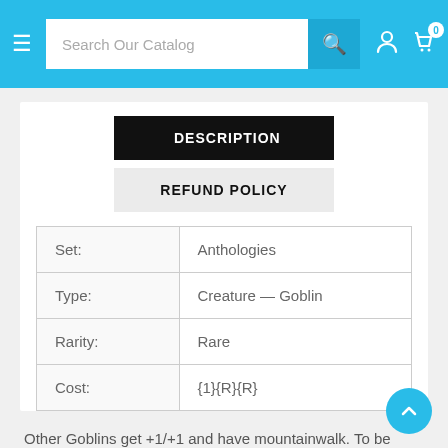Search Our Catalog
DESCRIPTION
REFUND POLICY
|  |  |
| --- | --- |
| Set: | Anthologies |
| Type: | Creature — Goblin |
| Rarity: | Rare |
| Cost: | {1}{R}{R} |
Other Goblins get +1/+1 and have mountainwalk. To be king, Numsgil did in Blog, who did in Unkful, who did in Viddle, who did in Loll, who did in Alrok . .